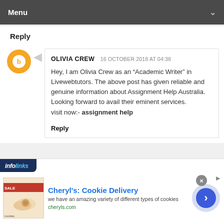Menu
Reply
OLIVIA CREW 16 OCTOBER 2018 AT 04:38
Hey, I am Olivia Crew as an “Academic Writer” in Livewebtutors. The above post has given reliable and genuine information about Assignment Help Australia. Looking forward to avail their eminent services.
visit now:- assignment help
Reply
[Figure (infographic): infolinks advertisement banner with Cheryl's Cookie Delivery ad: image of cookies on left, bold blue title, description text, cheryls.com URL, close button, and arrow navigation button]